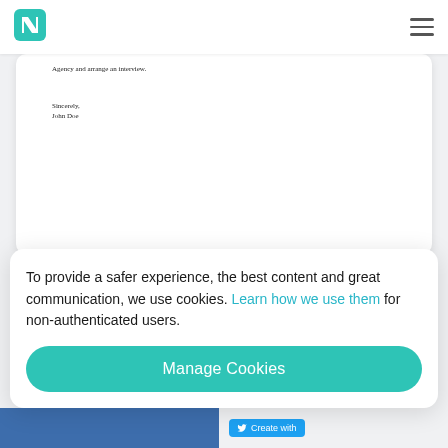[Figure (logo): Novoresume teal N logo in top navigation bar]
[Figure (screenshot): Document preview card showing bottom of a cover letter with text 'Agency and arrange an interview.' and closing 'Sincerely, John Doe']
Functional 11/16
A functional cover letter template that will increase your chances of being called for an interview.
To provide a safer experience, the best content and great communication, we use cookies. Learn how we use them for non-authenticated users.
Manage Cookies